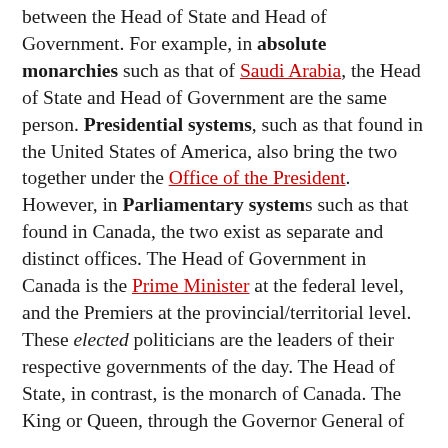between the Head of State and Head of Government. For example, in absolute monarchies such as that of Saudi Arabia, the Head of State and Head of Government are the same person. Presidential systems, such as that found in the United States of America, also bring the two together under the Office of the President. However, in Parliamentary systems such as that found in Canada, the two exist as separate and distinct offices. The Head of Government in Canada is the Prime Minister at the federal level, and the Premiers at the provincial/territorial level. These elected politicians are the leaders of their respective governments of the day. The Head of State, in contrast, is the monarch of Canada. The King or Queen, through the Governor General of